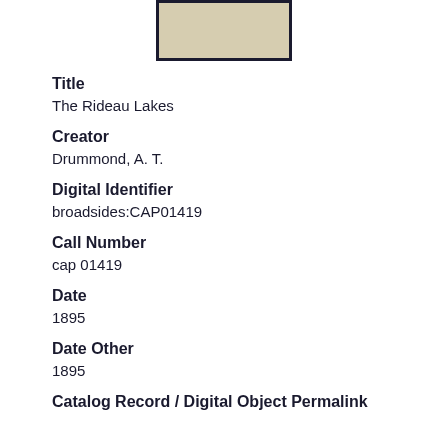[Figure (photo): Thumbnail image of a document or broadside with beige/tan background and dark border]
Title
The Rideau Lakes
Creator
Drummond, A. T.
Digital Identifier
broadsides:CAP01419
Call Number
cap 01419
Date
1895
Date Other
1895
Catalog Record / Digital Object Permalink